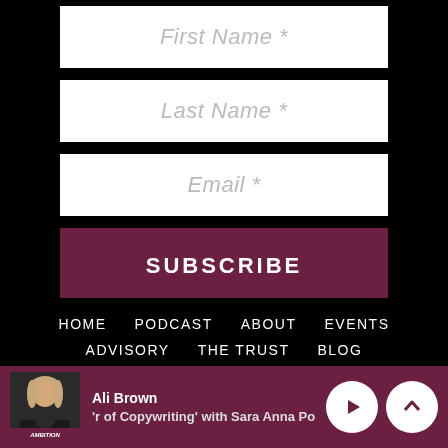First Name *
Last Name *
Email *
SUBSCRIBE
HOME    PODCAST    ABOUT    EVENTS
ADVISORY    THE TRUST    BLOG
TERMS OF SERVICE    PRIVACY POLICY
Ali Brown
'r of Copywriting' with Sara Anna Po